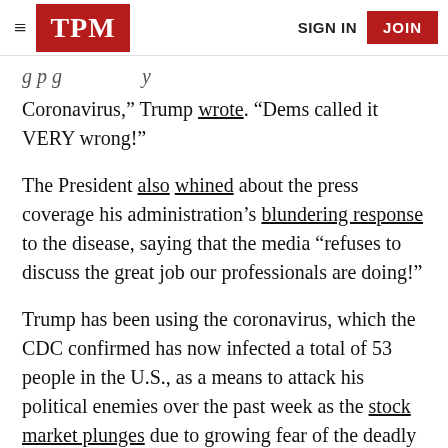TPM | SIGN IN | JOIN
g p g y Coronavirus,” Trump wrote. “Dems called it VERY wrong!”
The President also whined about the press coverage his administration’s blundering response to the disease, saying that the media “refuses to discuss the great job our professionals are doing!”
Trump has been using the coronavirus, which the CDC confirmed has now infected a total of 53 people in the U.S., as a means to attack his political enemies over the past week as the stock market plunges due to growing fear of the deadly illness.